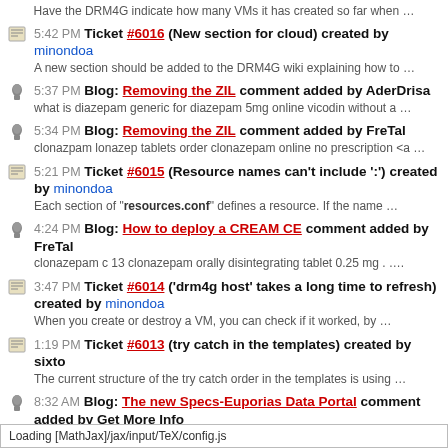Have the DRM4G indicate how many VMs it has created so far when …
5:42 PM Ticket #6016 (New section for cloud) created by minondoa — A new section should be added to the DRM4G wiki explaining how to …
5:37 PM Blog: Removing the ZIL comment added by AderDrisa — what is diazepam generic for diazepam 5mg online vicodin without a …
5:34 PM Blog: Removing the ZIL comment added by FreTal — clonazpam lonazep tablets order clonazepam online no prescription <a …
5:21 PM Ticket #6015 (Resource names can't include ':') created by minondoa — Each section of "resources.conf" defines a resource. If the name …
4:24 PM Blog: How to deploy a CREAM CE comment added by FreTal — clonazepam c 13 clonazepam orally disintegrating tablet 0.25 mg . ....
3:47 PM Ticket #6014 ('drm4g host' takes a long time to refresh) created by minondoa — When you create or destroy a VM, you can check if it worked, by …
1:19 PM Ticket #6013 (try catch in the templates) created by sixto — The current structure of the try catch order in the templates is using …
8:32 AM Blog: The new Specs-Euporias Data Portal comment added by Get More Info — Excellent site!!! Android is a name for synthetic testosterone …
Loading [MathJax]/jax/input/TeX/config.js